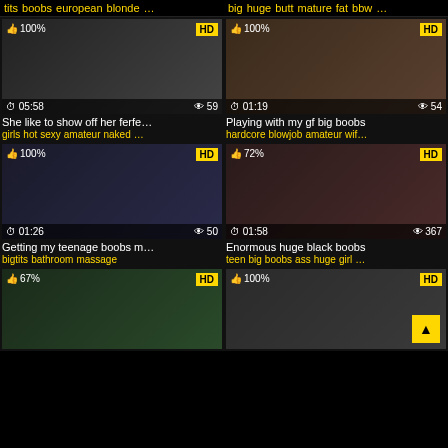tits boobs european blonde … | big huge butt mature fat bbw …
[Figure (photo): Video thumbnail - woman smiling, 100%, HD, 05:58, 59 views]
She like to show off her ferfe…
girls hot sexy amateur naked …
[Figure (photo): Video thumbnail - bathroom scene, 100%, HD, 01:19, 54 views]
Playing with my gf big boobs
hardcore blowjob amateur wif…
[Figure (photo): Video thumbnail - hands scene, 100%, HD, 01:26, 50 views]
Getting my teenage boobs m…
bigtits bathroom massage
[Figure (photo): Video thumbnail - woman posing, 72%, HD, 01:58, 367 views]
Enormous huge black boobs
teen big boobs ass huge girl …
[Figure (photo): Video thumbnail - dark scene, 67%, HD, partial view]
[Figure (photo): Video thumbnail - close up, 100%, HD, partial view]